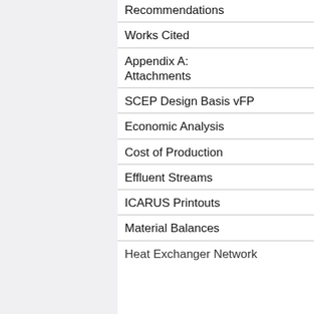Recommendations
Works Cited
Appendix A: Attachments
SCEP Design Basis vFP
Economic Analysis
Cost of Production
Effluent Streams
ICARUS Printouts
Material Balances
Heat Exchanger Network